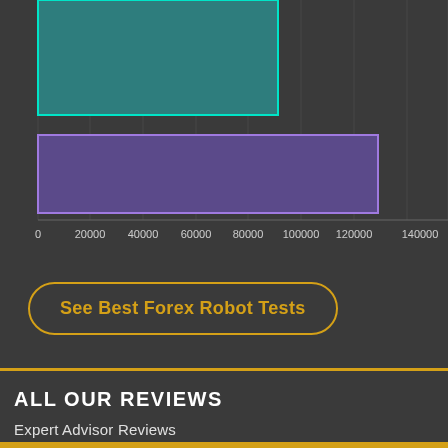[Figure (bar-chart): Partial bar chart (cropped)]
See Best Forex Robot Tests
ALL OUR REVIEWS
Expert Advisor Reviews